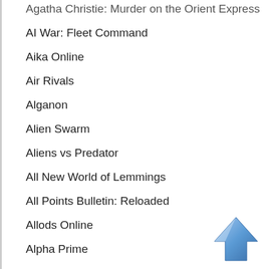Agatha Christie: Murder on the Orient Express
AI War: Fleet Command
Aika Online
Air Rivals
Alganon
Alien Swarm
Aliens vs Predator
All New World of Lemmings
All Points Bulletin: Reloaded
Allods Online
Alpha Prime
Alternativa
Altitude
Amnesia: The Dark Descent
Anarchy Online
Angels Online
Anarchy Wars: Battle